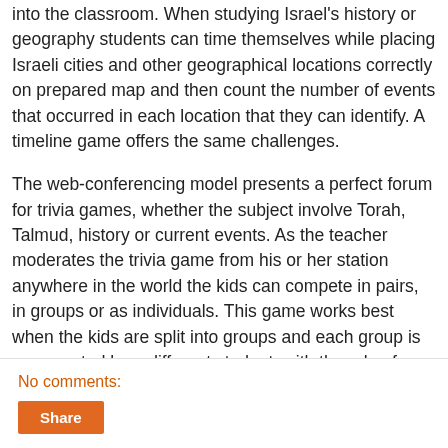into the classroom. When studying Israel's history or geography students can time themselves while placing Israeli cities and other geographical locations correctly on prepared map and then count the number of events that occurred in each location that they can identify. A timeline game offers the same challenges.
The web-conferencing model presents a perfect forum for trivia games, whether the subject involve Torah, Talmud, history or current events. As the teacher moderates the trivia game from his or her station anywhere in the world the kids can compete in pairs, in groups or as individuals. This game works best when the kids are split into groups and each group is represented by a different student, with the role of group representatives revolving among the students. Multiple groups can compete and as groups are eliminated, the last group standing becomes the trivia winner.
No comments: